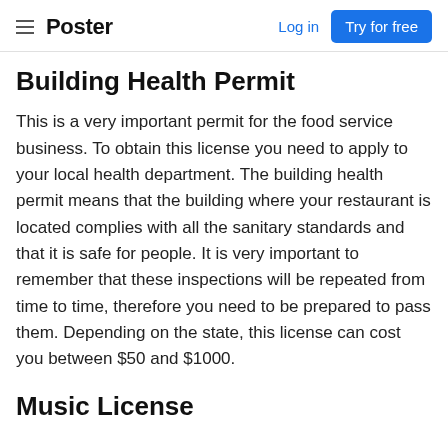≡ Poster   Log in   Try for free
Building Health Permit
This is a very important permit for the food service business. To obtain this license you need to apply to your local health department. The building health permit means that the building where your restaurant is located complies with all the sanitary standards and that it is safe for people. It is very important to remember that these inspections will be repeated from time to time, therefore you need to be prepared to pass them. Depending on the state, this license can cost you between $50 and $1000.
Music License